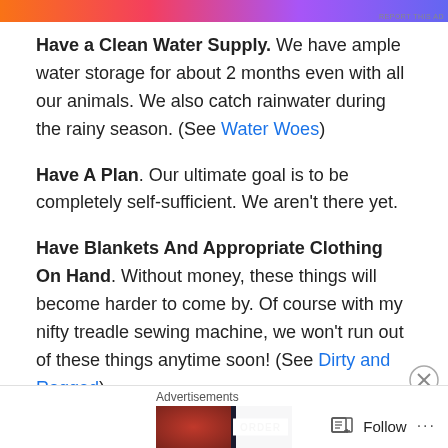[Figure (other): Colorful decorative advertisement banner with orange-pink-purple gradient and musical note decorations]
Have a Clean Water Supply. We have ample water storage for about 2 months even with all our animals. We also catch rainwater during the rainy season. (See Water Woes)
Have A Plan. Our ultimate goal is to be completely self-sufficient. We aren't there yet.
Have Blankets And Appropriate Clothing On Hand. Without money, these things will become harder to come by. Of course with my nifty treadle sewing machine, we won't run out of these things anytime soon! (See Dirty and Ragged)
Advertisements [ad image strip] Follow ...